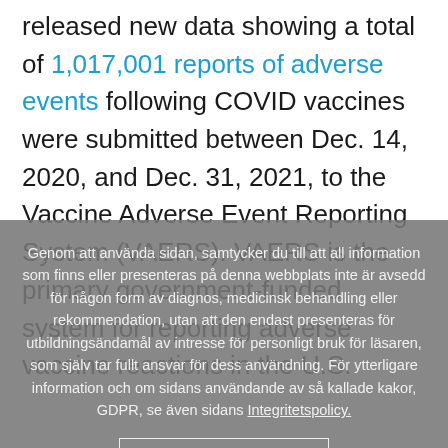released new data showing a total of 1,017,001 reports of adverse events following COVID vaccines were submitted between Dec. 14, 2020, and Dec. 31, 2021, to the Vaccine Adverse Event Reporting System (VAERS). VAERS is the primary government-funded system for reporting adverse vaccine reactions in the U.S.
Genom att använda sidan, samtycker du till att all information som finns eller presenteras på denna webbplats inte är avsedd för någon form av diagnos, medicinsk behandling eller rekommendation, utan att den endast presenteras för utbildningsändamål av intresse för personligt bruk för läsaren, som själv tar fullt ansvar för dess användning. För ytterligare information och om sidans användande av så kallade kakor, GDPR, se även sidans Integritetspolicy.